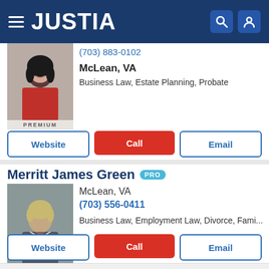JUSTIA
(703) 883-0102
McLean, VA
Business Law, Estate Planning, Probate
PREMIUM
Website | Call | Email
Merritt James Green PRO
McLean, VA
(703) 556-0411
Business Law, Employment Law, Divorce, Fami...
Website | Call | Email
Justia Ask a Lawyer is a forum for consumers to get answers to